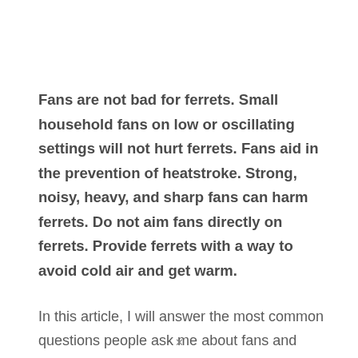Fans are not bad for ferrets. Small household fans on low or oscillating settings will not hurt ferrets. Fans aid in the prevention of heatstroke. Strong, noisy, heavy, and sharp fans can harm ferrets. Do not aim fans directly on ferrets. Provide ferrets with a way to avoid cold air and get warm.
In this article, I will answer the most common questions people ask me about fans and ferrets.